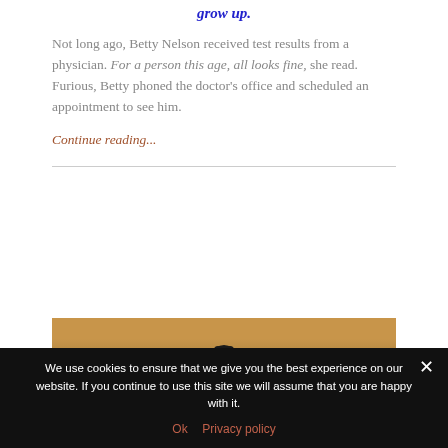grow up.
Not long ago, Betty Nelson received test results from a physician. For a person this age, all looks fine, she read. Furious, Betty phoned the doctor's office and scheduled an appointment to see him.
Continue reading...
[Figure (photo): Photo of an animal (dark-colored, possibly a bear or large rodent) peeking over a wooden ledge or table surface]
We use cookies to ensure that we give you the best experience on our website. If you continue to use this site we will assume that you are happy with it.
Ok   Privacy policy